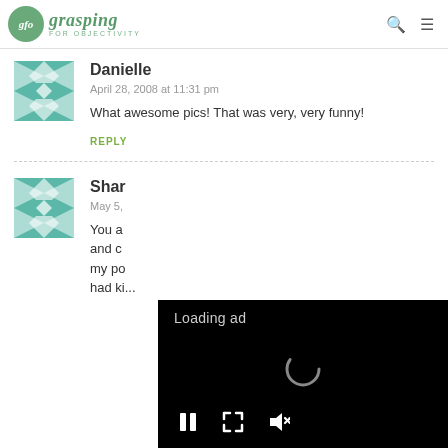glo grasping FOR OBJECTIVITY
Danielle
April 28, 2008 at 11:31 pm
What awesome pics! That was very, very funny!
REPLY
Shar
May 5,
You a and c my po had ki...
[Figure (screenshot): Video ad overlay with 'Loading ad' text, spinner, and playback controls (pause, resize, mute)]